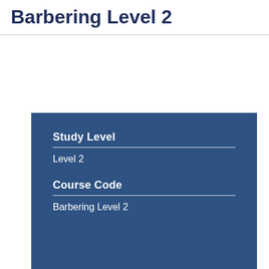Barbering Level 2
Study Level
Level 2
Course Code
Barbering Level 2